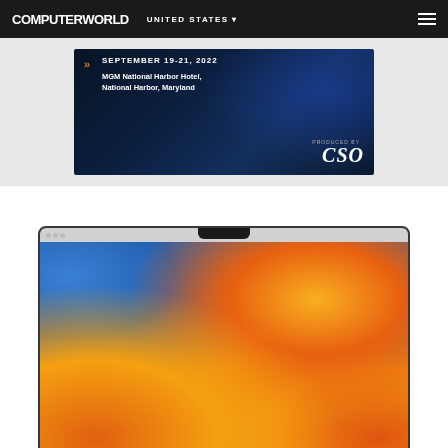COMPUTERWORLD | UNITED STATES
[Figure (other): Advertisement banner for a cybersecurity conference: SEPTEMBER 19-21, 2022, MGM National Harbor Hotel, National Harbor, Maryland. Produced by CSO. Dark blue background with glowing effects.]
[Figure (photo): MacBook laptop with notch at top of display, showing macOS Ventura orange/yellow gradient wallpaper with blue accents. Menu bar visible at top of screen.]